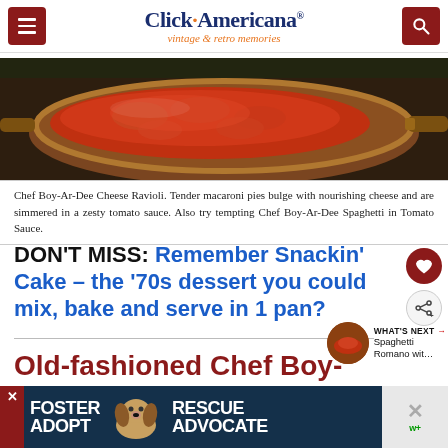Click Americana — vintage & retro memories
[Figure (photo): Vintage photo of a copper/brown pan with Chef Boy-Ar-Dee Cheese Ravioli in tomato sauce]
Chef Boy-Ar-Dee Cheese Ravioli. Tender macaroni pies bulge with nourishing cheese and are simmered in a zesty tomato sauce. Also try tempting Chef Boy-Ar-Dee Spaghetti in Tomato Sauce.
DON'T MISS: Remember Snackin' Cake – the '70s dessert you could mix, bake and serve in 1 pan?
Old-fashioned Chef Boy-Ar-Dee…
[Figure (photo): Foster/Rescue/Adopt dog advertisement banner with beagle photo]